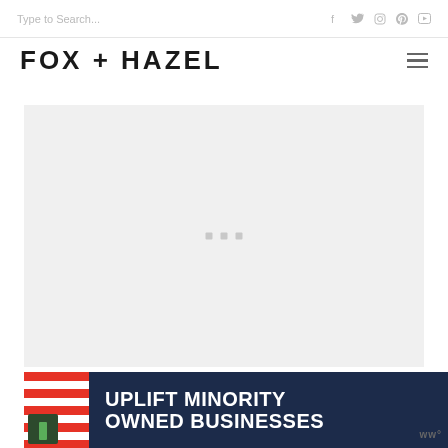Type to Search...
FOX + HAZEL
[Figure (photo): Large light gray image placeholder area with three small gray square dots centered in the middle, indicating loading or empty content area]
[Figure (screenshot): Advertisement banner: dark navy background with red and white striped left panel, text 'UPLIFT MINORITY OWNED BUSINESSES', right panel with light blue checkered pattern, and a close button X]